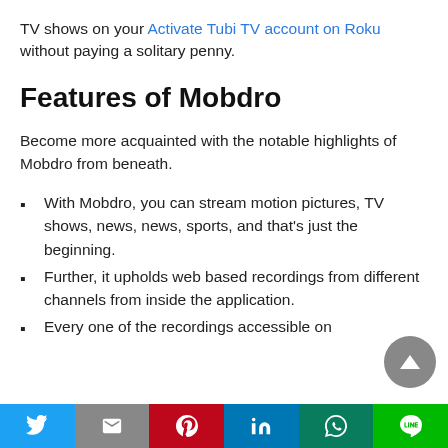TV shows on your Activate Tubi TV account on Roku without paying a solitary penny.
Features of Mobdro
Become more acquainted with the notable highlights of Mobdro from beneath.
With Mobdro, you can stream motion pictures, TV shows, news, news, sports, and that's just the beginning.
Further, it upholds web based recordings from different channels from inside the application.
Every one of the recordings accessible on